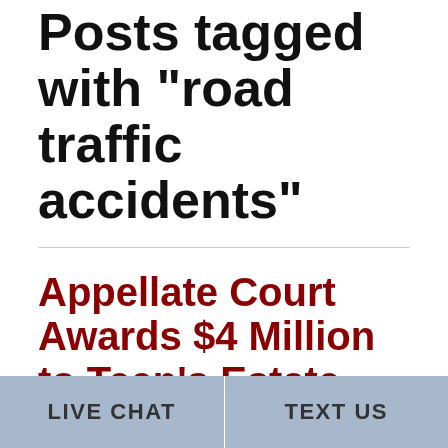Posts tagged with "road traffic accidents"
Appellate Court Awards $4 Million to Teen's Estate Following Fatal Accident
Leave a reply
Case Details
LIVE CHAT
TEXT US